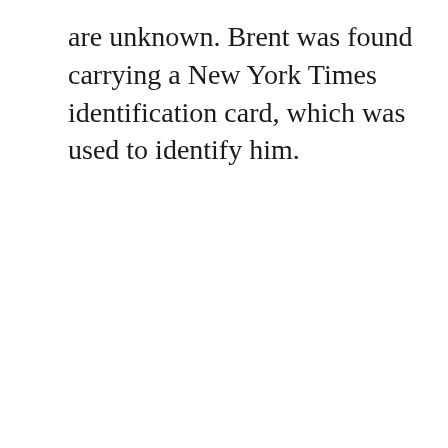are unknown. Brent was found carrying a New York Times identification card, which was used to identify him.